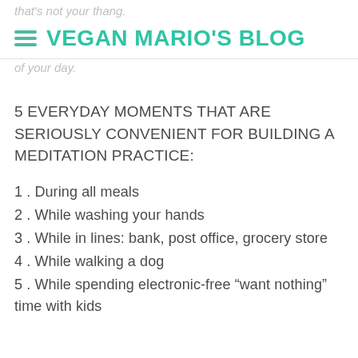VEGAN MARIO'S BLOG
that's not your thang.
of your day.
5 EVERYDAY MOMENTS THAT ARE SERIOUSLY CONVENIENT FOR BUILDING A MEDITATION PRACTICE:
1. During all meals
2. While washing your hands
3. While in lines: bank, post office, grocery store
4. While walking a dog
5. While spending electronic-free “want nothing” time with kids